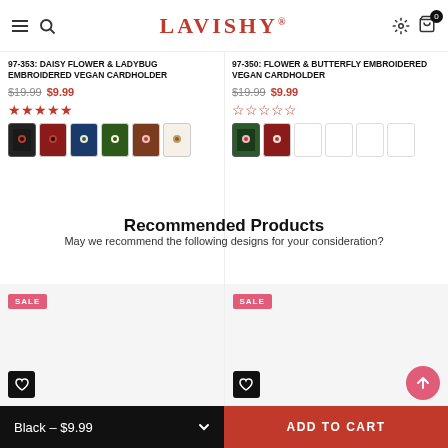LAVISHY
97-353: DAISY FLOWER & LADYBUG EMBROIDERED VEGAN CARDHOLDER
$19.99  $9.99  ★★★★★
97-350: FLOWER & BUTTERFLY EMBROIDERED VEGAN CARDHOLDER
$19.99  $9.99  ☆☆☆☆☆
Recommended Products
May we recommend the following designs for your consideration?
[Figure (screenshot): Two product cards with SALE badges and wishlist heart buttons]
Black – $9.99   ADD TO CART